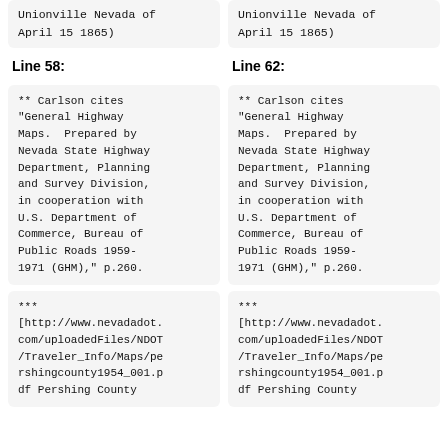Unionville Nevada of April 15 1865)
Unionville Nevada of April 15 1865)
Line 58:
Line 62:
** Carlson cites "General Highway Maps.  Prepared by Nevada State Highway Department, Planning and Survey Division, in cooperation with U.S. Department of Commerce, Bureau of Public Roads 1959-1971 (GHM)," p.260.
** Carlson cites "General Highway Maps.  Prepared by Nevada State Highway Department, Planning and Survey Division, in cooperation with U.S. Department of Commerce, Bureau of Public Roads 1959-1971 (GHM)," p.260.
*** [http://www.nevadadot.com/uploadedFiles/NDOT/Traveler_Info/Maps/pershingcounty1954_001.pdf Pershing County
*** [http://www.nevadadot.com/uploadedFiles/NDOT/Traveler_Info/Maps/pershingcounty1954_001.pdf Pershing County